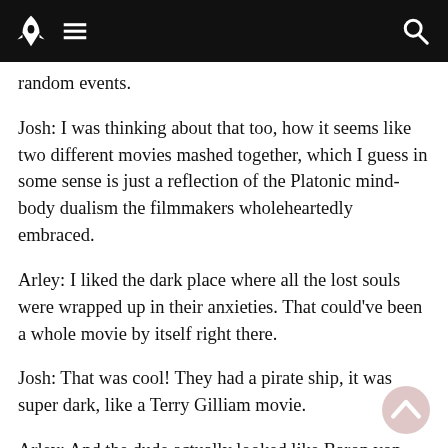[Navigation bar with rocket logo, menu icon, and search icon]
random events.
Josh: I was thinking about that too, how it seems like two different movies mashed together, which I guess in some sense is just a reflection of the Platonic mind-body dualism the filmmakers wholeheartedly embraced.
Arley: I liked the dark place where all the lost souls were wrapped up in their anxieties. That could've been a whole movie by itself right there.
Josh: That was cool! They had a pirate ship, it was super dark, like a Terry Gilliam movie.
Arley: And the dude actually looked like Baron von Munchausen, from Gilliam's movie. If you caught that, too, it must have been deliberate. Would you recommend this one?